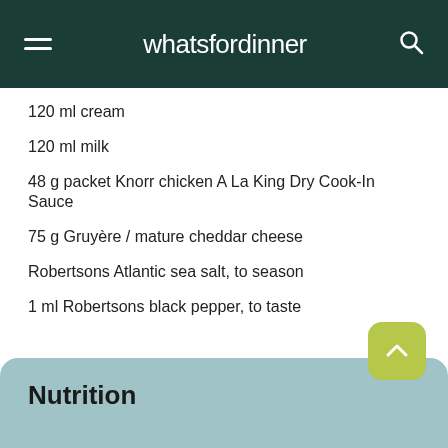whatsfordinner
120 ml cream
120 ml milk
48 g packet Knorr chicken A La King Dry Cook-In Sauce
75 g Gruyère / mature cheddar cheese
Robertsons Atlantic sea salt, to season
1 ml Robertsons black pepper, to taste
Nutrition